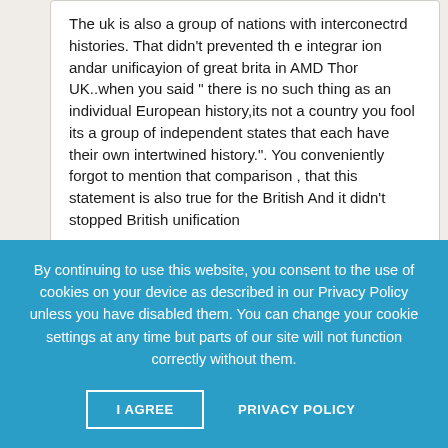The uk is also a group of nations with interconectrd histories. That didn't prevented th e integrar ion andar unificayion of great brita in AMD Thor UK..when you said " there is no such thing as an individual European history,its not a country you fool its a group of independent states that each have their own intertwined history.". You conveniently forgot to mention that comparison , that this statement is also true for the British And it didn't stopped British unification
Cristian Dinescu • October 30th, 2012 •
By continuing to use this website, you consent to the use of cookies on your device as described in our Privacy Policy unless you have disabled them. You can change your cookie settings at any time but parts of our site will not function correctly without them.
I AGREE    PRIVACY POLICY